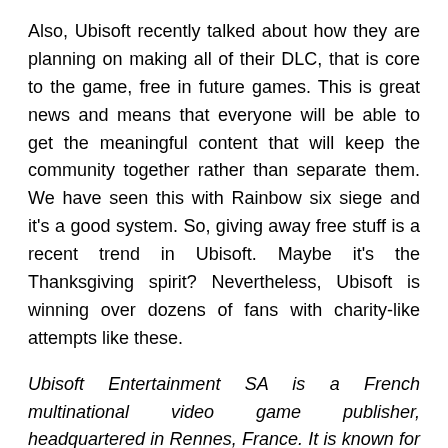Also, Ubisoft recently talked about how they are planning on making all of their DLC, that is core to the game, free in future games. This is great news and means that everyone will be able to get the meaningful content that will keep the community together rather than separate them. We have seen this with Rainbow six siege and it's a good system. So, giving away free stuff is a recent trend in Ubisoft. Maybe it's the Thanksgiving spirit? Nevertheless, Ubisoft is winning over dozens of fans with charity-like attempts like these.
Ubisoft Entertainment SA is a French multinational video game publisher, headquartered in Rennes, France. It is known for developing games for several acclaimed video game franchises including Assassin's Creed, Far Cry, Tom Clancy's Ghost Recon, Just Dance, Rainbow Six, Prince of Persia, Rayman, Watch Dogs and Tom Clancy's Splinter Cell.